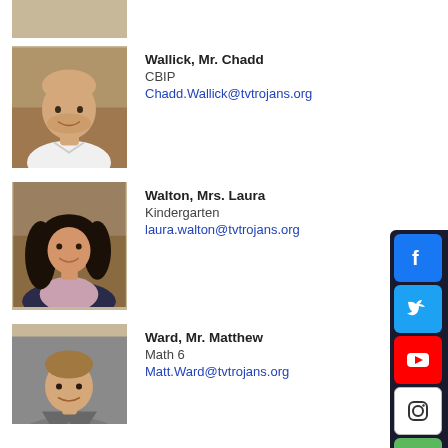[Figure (photo): Partial photo of a person at the top of the page (cropped)]
Wallick, Mr. Chadd
CBIP
Chadd.Wallick@tvtrojans.org
[Figure (photo): Portrait photo of Mr. Chadd Wallick, bald man in white shirt, smiling]
Walton, Mrs. Laura
Kindergarten
laura.walton@tvtrojans.org
[Figure (photo): Portrait photo of Mrs. Laura Walton, woman with dark curly hair, smiling]
Ward, Mr. Matthew
Math 6
Matt.Ward@tvtrojans.org
[Figure (photo): Portrait photo of Mr. Matthew Ward, man in grey jacket]